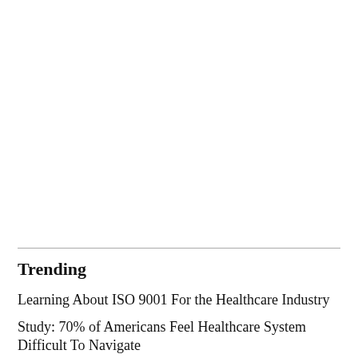Trending
Learning About ISO 9001 For the Healthcare Industry
Study: 70% of Americans Feel Healthcare System Difficult To Navigate